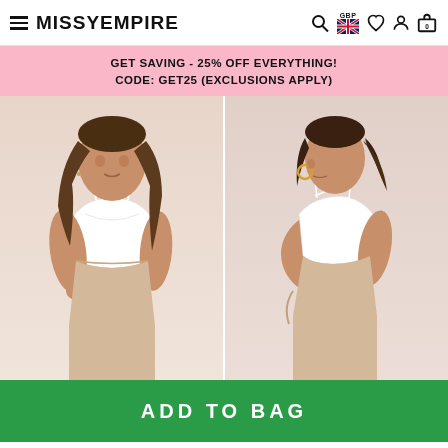MISSYEMPIRE — GBP navigation header
GET SAVING - 25% OFF EVERYTHING! CODE: GET25 (EXCLUSIONS APPLY)
[Figure (photo): Two views of a model wearing a white crop cami top and beige/nude leggings. Left image shows front view; right image shows back/side view.]
ADD TO BAG